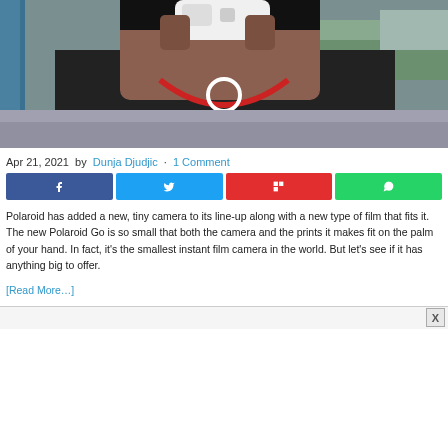[Figure (photo): Person holding a small white Polaroid Go camera up to their face, wearing a red and white headphone/necklace and black t-shirt, outdoors at a playground]
Apr 21, 2021 by Dunja Djudjic · 1 Comment
[Figure (infographic): Social share buttons: Facebook (dark blue), Twitter (light blue), Flipboard (red), WhatsApp (green)]
Polaroid has added a new, tiny camera to its line-up along with a new type of film that fits it. The new Polaroid Go is so small that both the camera and the prints it makes fit on the palm of your hand. In fact, it's the smallest instant film camera in the world. But let's see if it has anything big to offer.
[Read More…]